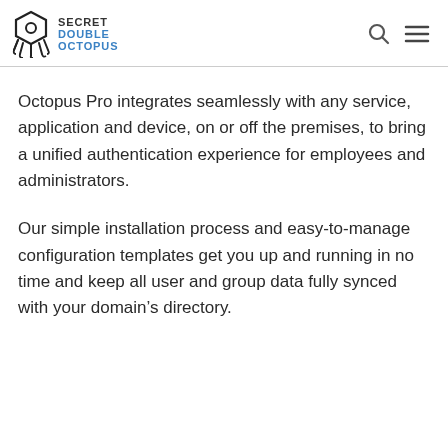SECRET DOUBLE OCTOPUS
Octopus Pro integrates seamlessly with any service, application and device, on or off the premises, to bring a unified authentication experience for employees and administrators.
Our simple installation process and easy-to-manage configuration templates get you up and running in no time and keep all user and group data fully synced with your domain's directory.